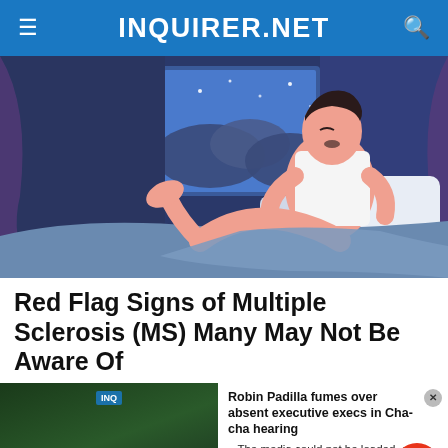INQUIRER.NET
[Figure (illustration): Animated illustration of a man sitting up in bed at night, unable to sleep. Blue night background with window showing night sky and clouds. Man wearing white sleeveless shirt.]
Red Flag Signs of Multiple Sclerosis (MS) Many May Not Be Aware Of
[Figure (screenshot): Video player overlay with media error message: 'The media could not be loaded, either because the server or network failed or because the format is not supported.' Alongside a news item about Robin Padilla fumes over absent executive execs in Cha-cha hearing. Orange chat button visible. Close X button at bottom.]